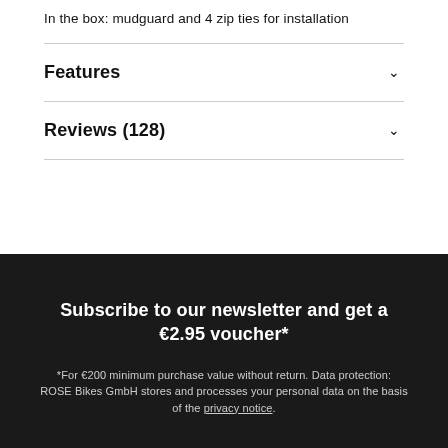In the box: mudguard and 4 zip ties for installation
Features
Reviews (128)
Subscribe to our newsletter and get a €2.95 voucher*
*For €200 minimum purchase value without return. Data protection: ROSE Bikes GmbH stores and processes your personal data on the basis of the privacy notice.